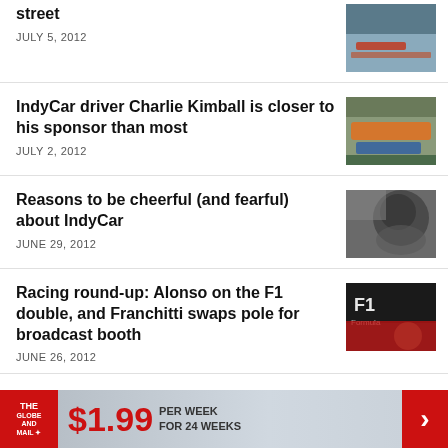street
JULY 5, 2012
IndyCar driver Charlie Kimball is closer to his sponsor than most
JULY 2, 2012
Reasons to be cheerful (and fearful) about IndyCar
JUNE 29, 2012
Racing round-up: Alonso on the F1 double, and Franchitti swaps pole for broadcast booth
JUNE 26, 2012
THE GLOBE AND MAIL  $1.99 PER WEEK FOR 24 WEEKS